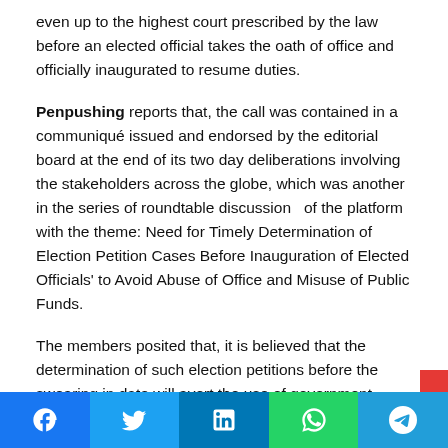even up to the highest court prescribed by the law before an elected official takes the oath of office and officially inaugurated to resume duties.
Penpushing reports that, the call was contained in a communiqué issued and endorsed by the editorial board at the end of its two day deliberations involving the stakeholders across the globe, which was another in the series of roundtable discussion of the platform with the theme: Need for Timely Determination of Election Petition Cases Before Inauguration of Elected Officials' to Avoid Abuse of Office and Misuse of Public Funds.
The members posited that, it is believed that the determination of such election petitions before the swearing in date will avert the use of government funds by elected